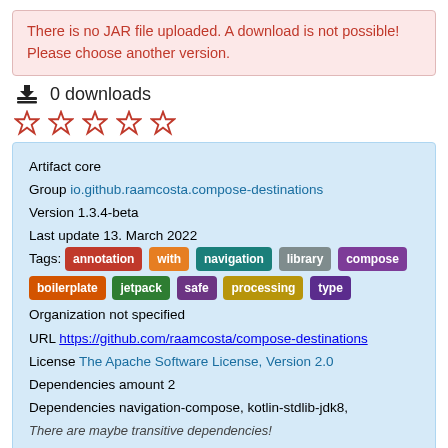There is no JAR file uploaded. A download is not possible! Please choose another version.
0 downloads
[Figure (other): Five empty star rating icons in red outline]
| Artifact | core |
| Group | io.github.raamcosta.compose-destinations |
| Version | 1.3.4-beta |
| Last update | 13. March 2022 |
| Tags: | annotation, with, navigation, library, compose, boilerplate, jetpack, safe, processing, type |
| Organization | not specified |
| URL | https://github.com/raamcosta/compose-destinations |
| License | The Apache Software License, Version 2.0 |
| Dependencies amount | 2 |
| Dependencies | navigation-compose, kotlin-stdlib-jdk8, |
|  | There are maybe transitive dependencies! |
core from group io.github.raamcosta.compose-